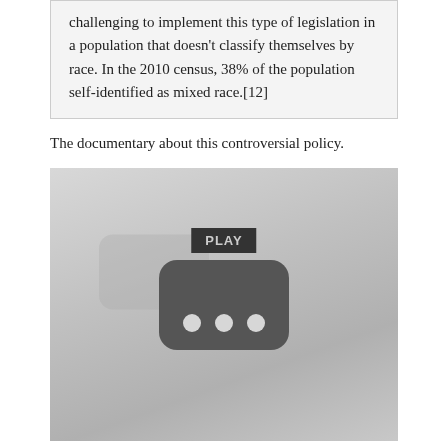challenging to implement this type of legislation in a population that doesn't classify themselves by race. In the 2010 census, 38% of the population self-identified as mixed race.[12]
The documentary about this controversial policy.
[Figure (screenshot): A YouTube video placeholder showing a PLAY button label above a rounded rectangle icon with three dots, set against a gray gradient background.]